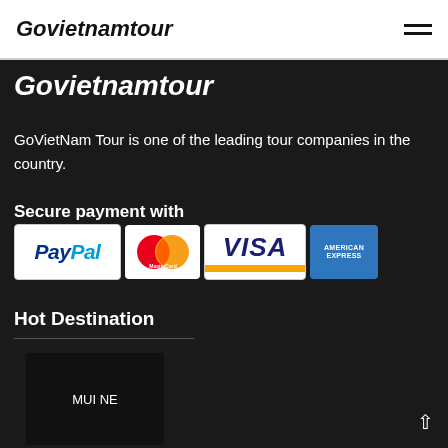Govietnamtour
Govietnamtour
GoVietNam Tour is one of the leading tour companies in the country.
Secure payment with
[Figure (logo): Payment method logos: PayPal, MasterCard, Visa, American Express]
Hot Destination
[Figure (photo): Destination image placeholder with text MUI NE]